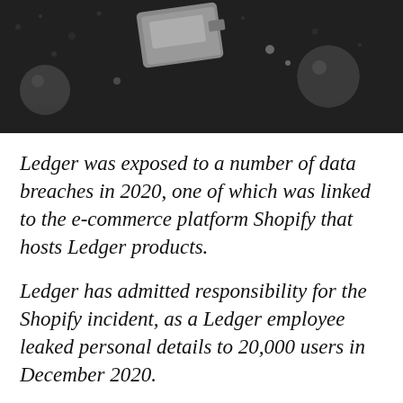[Figure (photo): Dark background photo showing metallic objects including what appears to be a hardware wallet or USB device and dark spherical objects on a black surface]
Ledger was exposed to a number of data breaches in 2020, one of which was linked to the e-commerce platform Shopify that hosts Ledger products.
Ledger has admitted responsibility for the Shopify incident, as a Ledger employee leaked personal details to 20,000 users in December 2020.
1 [icon] s in addition to another breach in the summer of the same year 2020 that